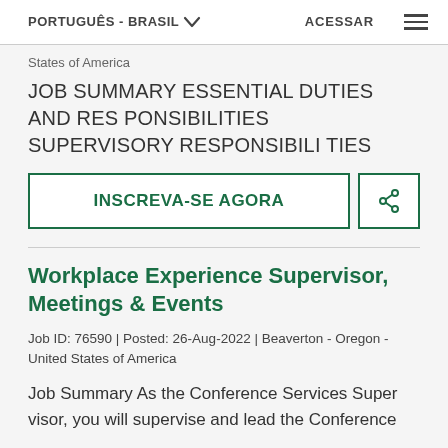PORTUGUÊS - BRASIL  ACESSAR
States of America
JOB SUMMARY ESSENTIAL DUTIES AND RESPONSIBILITIES SUPERVISORY RESPONSIBILITIES
INSCREVA-SE AGORA
Workplace Experience Supervisor, Meetings & Events
Job ID: 76590 | Posted: 26-Aug-2022 | Beaverton - Oregon - United States of America
Job Summary As the Conference Services Supervisor, you will supervise and lead the Conference